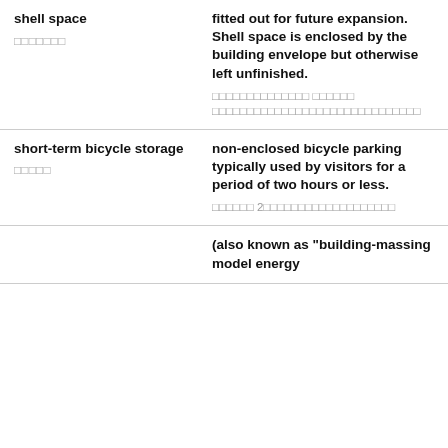| Term | Definition |
| --- | --- |
| shell space
[non-latin characters] | fitted out for future expansion. Shell space is enclosed by the building envelope but otherwise left unfinished.
[non-latin characters] |
| short-term bicycle storage
[non-latin characters] | non-enclosed bicycle parking typically used by visitors for a period of two hours or less.
[non-latin characters] 2 [non-latin characters] |
|  | (also known as "building-massing model energy |